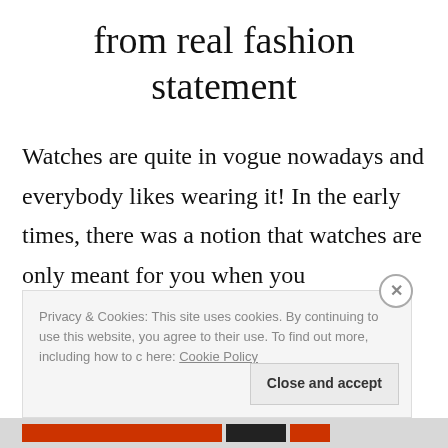from real fashion statement
Watches are quite in vogue nowadays and everybody likes wearing it! In the early times, there was a notion that watches are only meant for you when you
Privacy & Cookies: This site uses cookies. By continuing to use this website, you agree to their use. To find out more, including how to c here: Cookie Policy
Close and accept